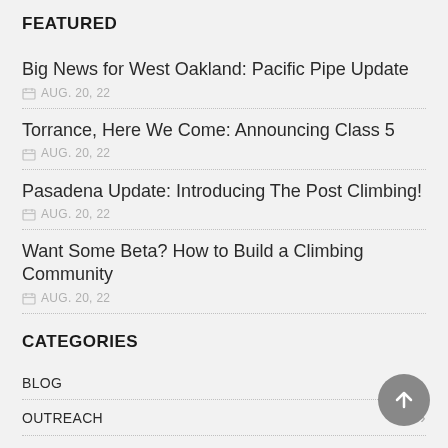FEATURED
Big News for West Oakland: Pacific Pipe Update
AUG. 20, 22
Torrance, Here We Come: Announcing Class 5
AUG. 20, 22
Pasadena Update: Introducing The Post Climbing!
AUG. 20, 22
Want Some Beta? How to Build a Climbing Community
AUG. 20, 22
CATEGORIES
BLOG
OUTREACH